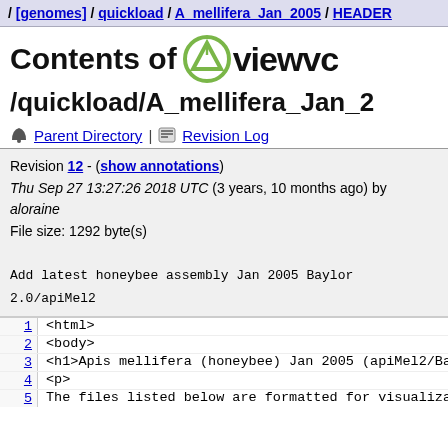/ [genomes] / quickload / A_mellifera_Jan_2005 / HEADER
Contents of viewvc
/quickload/A_mellifera_Jan_2
Parent Directory | Revision Log
Revision 12 - (show annotations)
Thu Sep 27 13:27:26 2018 UTC (3 years, 10 months ago) by aloraine
File size: 1292 byte(s)

Add latest honeybee assembly Jan 2005 Baylor 2.0/apiMel2
1  <html>
2  <body>
3  <h1>Apis mellifera (honeybee) Jan 2005 (apiMel2/Bayl
4  <p>
5  The files listed below are formatted for visualizati